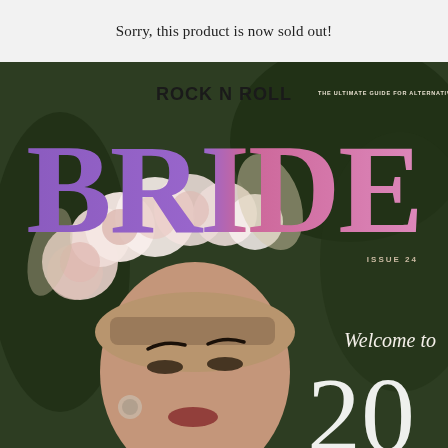Sorry, this product is now sold out!
[Figure (photo): Magazine cover of Rock N Roll Bride, Issue 24. A woman with short bangs and a large floral crown of pink and white roses looks upward. The background features lush green foliage. The large 'BRIDE' title is displayed in purple and pink gradient letters. Text 'Welcome to 20' visible in lower right.]